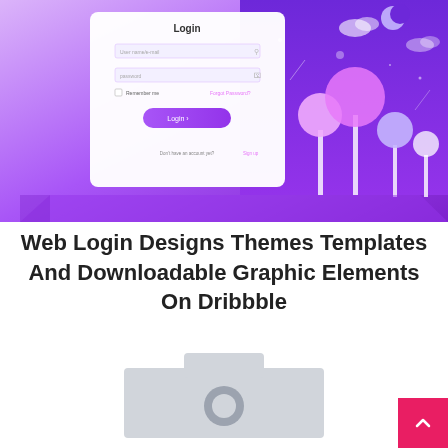[Figure (screenshot): Screenshot of a web login page design with purple gradient background. Left side shows a white login form card with 'Login' title, username/email field, password field, 'Remember me' checkbox, 'Forgot Password?' link in pink, and a purple 'Login' button with arrow, and 'Don't have an account yet? Sign up' text. Right side shows a purple night scene illustration with moon, clouds, and lollipop-tree shapes in pink, lavender and white.]
Web Login Designs Themes Templates And Downloadable Graphic Elements On Dribbble
[Figure (photo): Partially visible placeholder image icon (camera/image placeholder in grey) at the bottom of the page.]